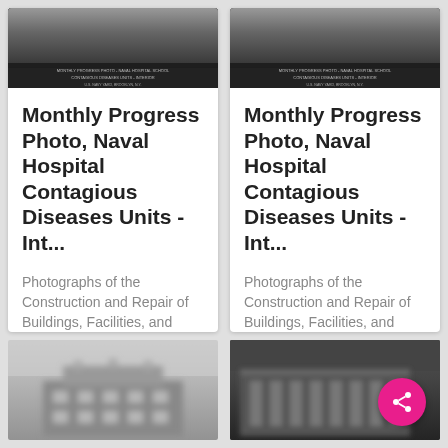[Figure (photo): Black and white historical photo, top of card 1, showing a building with text overlay at bottom]
Monthly Progress Photo, Naval Hospital Contagious Diseases Units - Int...
Photographs of the Construction and Repair of Buildings, Facilities, and Vessels at the New York Navy Yard
[Figure (photo): Black and white historical photo, top of card 2, showing a building with text overlay at bottom]
Monthly Progress Photo, Naval Hospital Contagious Diseases Units - Int...
Photographs of the Construction and Repair of Buildings, Facilities, and Vessels at the New York Navy Yard
[Figure (photo): Black and white blurry photo of a two-story building under construction, bottom left]
[Figure (photo): Black and white photo of a building, darker image, bottom right, with share button overlay]